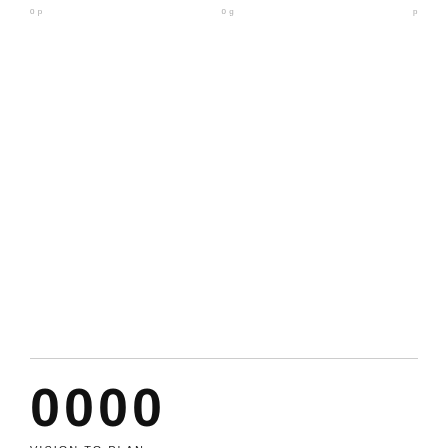0000   VISION TO PLAN   p
0000
VISION TO PLAN